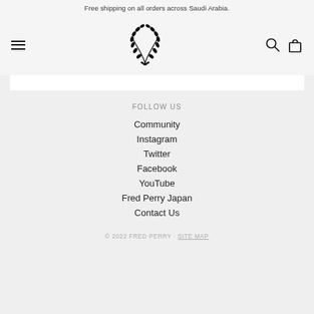Free shipping on all orders across Saudi Arabia.
[Figure (logo): Fred Perry laurel wreath logo centered in navigation bar with hamburger menu on left and search/bag icons on right]
FOLLOW US
Community
Instagram
Twitter
Facebook
YouTube
Fred Perry Japan
Contact Us
© 2022 FRED PERRY · SITE MAP